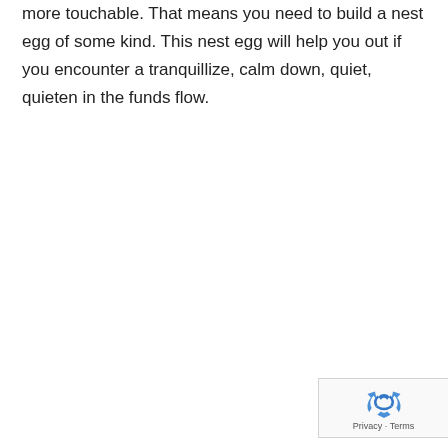more touchable. That means you need to build a nest egg of some kind. This nest egg will help you out if you encounter a tranquillize, calm down, quiet, quieten in the funds flow.
[Figure (other): reCAPTCHA badge with recycling-arrow logo and Privacy - Terms links]